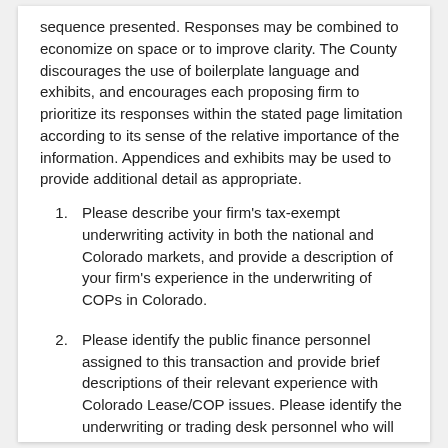sequence presented. Responses may be combined to economize on space or to improve clarity. The County discourages the use of boilerplate language and exhibits, and encourages each proposing firm to prioritize its responses within the stated page limitation according to its sense of the relative importance of the information. Appendices and exhibits may be used to provide additional detail as appropriate.
1. Please describe your firm's tax-exempt underwriting activity in both the national and Colorado markets, and provide a description of your firm's experience in the underwriting of COPs in Colorado.
2. Please identify the public finance personnel assigned to this transaction and provide brief descriptions of their relevant experience with Colorado Lease/COP issues. Please identify the underwriting or trading desk personnel who will be responsible for pricing this issue, and provide brief descriptions of their relevant experience.
3. Briefly describe your municipal bond sales